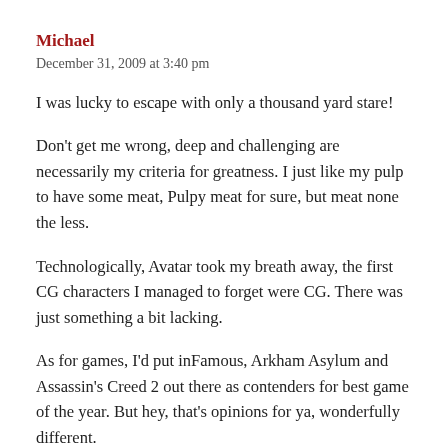Michael
December 31, 2009 at 3:40 pm
I was lucky to escape with only a thousand yard stare!
Don't get me wrong, deep and challenging are necessarily my criteria for greatness. I just like my pulp to have some meat, Pulpy meat for sure, but meat none the less.
Technologically, Avatar took my breath away, the first CG characters I managed to forget were CG. There was just something a bit lacking.
As for games, I'd put inFamous, Arkham Asylum and Assassin's Creed 2 out there as contenders for best game of the year. But hey, that's opinions for ya, wonderfully different.